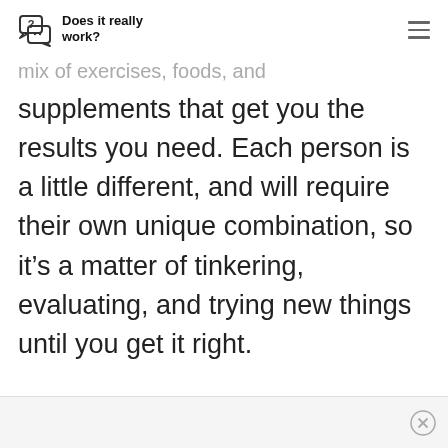Does it really work?
mix of exercises, foods, and supplements that get you the results you need. Each person is a little different, and will require their own unique combination, so it’s a matter of tinkering, evaluating, and trying new things until you get it right.